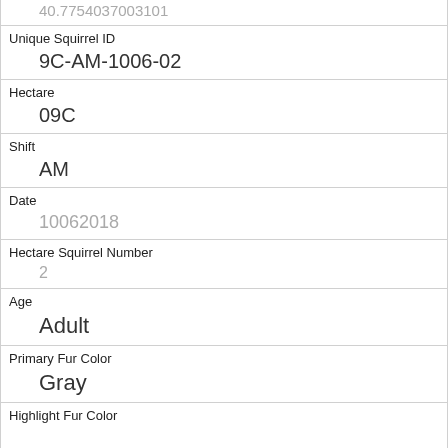| 40.7754037003101 |
| Unique Squirrel ID | 9C-AM-1006-02 |
| Hectare | 09C |
| Shift | AM |
| Date | 10062018 |
| Hectare Squirrel Number | 2 |
| Age | Adult |
| Primary Fur Color | Gray |
| Highlight Fur Color |  |
| Combination of Primary and Highlight Color | Gray+ |
| Color notes |  |